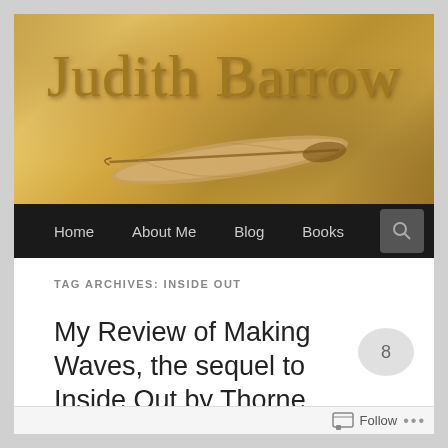[Figure (screenshot): Blog header banner with parchment/golden texture background showing site title 'Judith Barrow' in large serif font with a feather quill illustration below]
Home  About Me  Blog  Books
TAG ARCHIVES: INSIDE OUT
My Review of Making Waves, the sequel to Inside Out by Thorne Moore
Follow ...